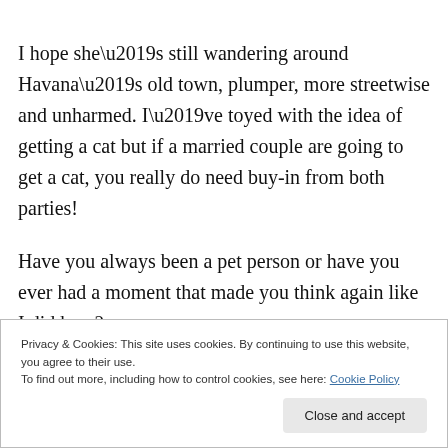I hope she’s still wandering around Havana’s old town, plumper, more streetwise and unharmed. I’ve toyed with the idea of getting a cat but if a married couple are going to get a cat, you really do need buy-in from both parties!
Have you always been a pet person or have you ever had a moment that made you think again like I did here?
Privacy & Cookies: This site uses cookies. By continuing to use this website, you agree to their use.
To find out more, including how to control cookies, see here: Cookie Policy